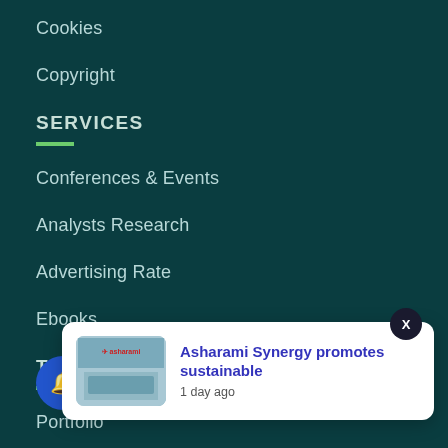Cookies
Copyright
SERVICES
Conferences & Events
Analysts Research
Advertising Rate
Ebooks
TOOLS
Portfolio
Newsletters
News feed
[Figure (screenshot): Notification popup showing Asharami Synergy promotes sustainable article with thumbnail image, published 1 day ago. Blue circular bell icon with red badge showing 3 notifications. Dark close button with X.]